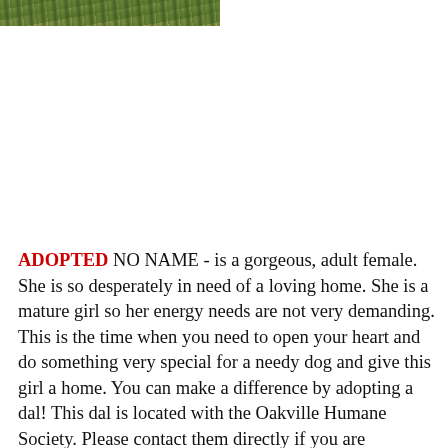[Figure (photo): Partial photo of a dog outdoors on grass/ground, only the top portion visible at the top of the page.]
ADOPTED NO NAME - is a gorgeous, adult female. She is so desperately in need of a loving home. She is a mature girl so her energy needs are not very demanding. This is the time when you need to open your heart and do something very special for a needy dog and give this girl a home. You can make a difference by adopting a dal! This dal is located with the Oakville Humane Society. Please contact them directly if you are interested. Phone: 905-845-1551